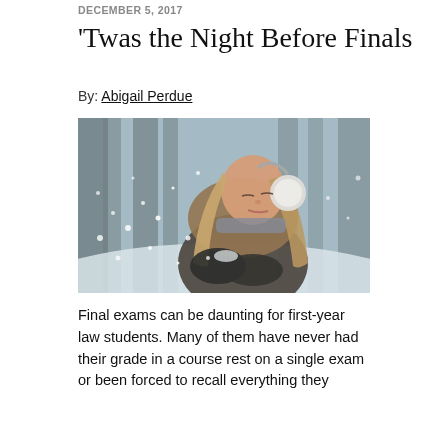DECEMBER 5, 2017
'Twas the Night Before Finals
By: Abigail Perdue
[Figure (photo): Young woman with long blonde hair wearing a fur-hooded coat and white ear muffs, blowing snow from her gloved hands outdoors in a winter snowy setting.]
Final exams can be daunting for first-year law students. Many of them have never had their grade in a course rest on a single exam or been forced to recall everything they